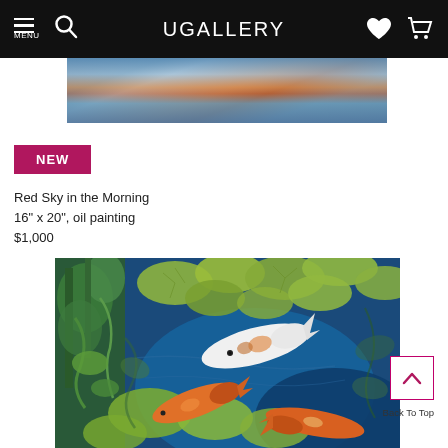UGALLERY
[Figure (photo): Partial view of a painting showing a colorful sky reflected on water, with orange, blue and teal tones.]
NEW
Red Sky in the Morning
16" x 20", oil painting
$1,000
[Figure (photo): Oil painting of koi fish swimming among lily pads in a blue-green pond, with lush aquatic plants.]